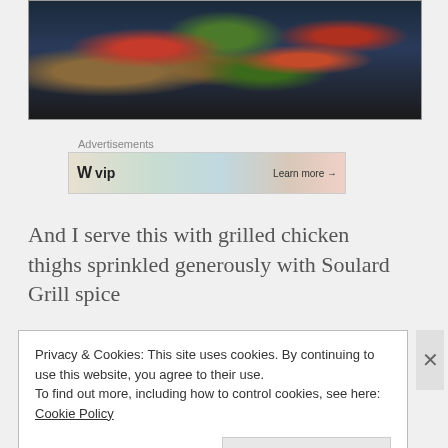[Figure (photo): Close-up photo of a dark skillet/pan containing a colorful stir-fry or sautéed dish with red and green peppers, ground meat and other vegetables.]
Advertisements
[Figure (other): Advertisement banner for WordPress VIP showing the WP logo, 'vip' text, stock-related images, and a 'Learn more →' button.]
And I serve this with grilled chicken thighs sprinkled generously with Soulard Grill spice
Privacy & Cookies: This site uses cookies. By continuing to use this website, you agree to their use.
To find out more, including how to control cookies, see here: Cookie Policy
Close and accept